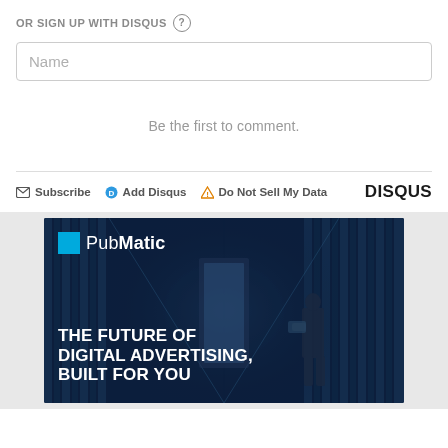OR SIGN UP WITH DISQUS ?
Name
Be the first to comment.
Subscribe  Add Disqus  Do Not Sell My Data  DISQUS
[Figure (photo): PubMatic advertisement banner featuring a dark blue data center corridor with a person standing in it, and bold white text reading 'THE FUTURE OF DIGITAL ADVERTISING, BUILT FOR YOU']